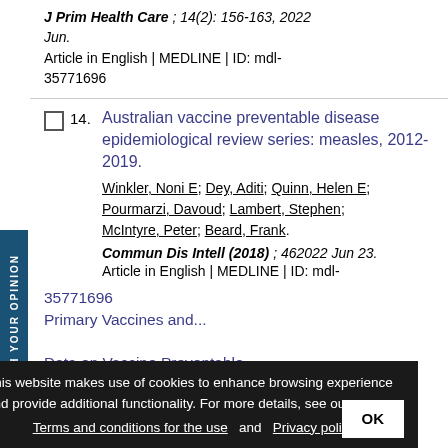J Prim Health Care ; 14(2): 156-163, 2022 Jun. Article in English | MEDLINE | ID: mdl-35771696
14. Australian vaccine preventable disease epidemiological review series: measles, 2012-2019.
Winkler, Noni E; Dey, Aditi; Quinn, Helen E; Pourmarzi, Davoud; Lambert, Stephen; McIntyre, Peter; Beard, Frank.
Commun Dis Intell (2018) ; 462022 Jun 23. Article in English | MEDLINE | ID: mdl-
This website makes use of cookies to enhance browsing experience and provide additional functionality. For more details, see ours: Terms and conditions for the use and Privacy policy